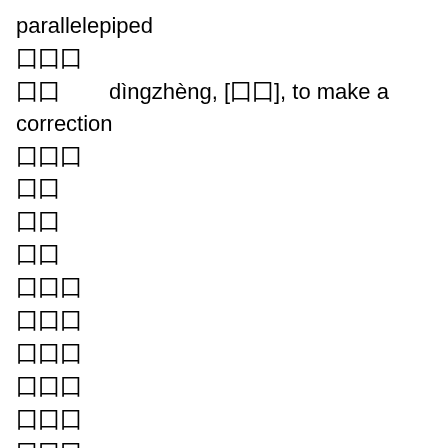parallelepiped
囗囗囗
囗囗        dìngzhèng, [囗囗], to make a correction
囗囗囗
囗囗
囗囗
囗囗
囗囗囗
囗囗囗
囗囗囗
囗囗囗
囗囗囗
囗囗囗
囗囗囗囗        zìzhèngqiāngyuán, [囗囗囗囗囗], (of singing or speaking) very articulate pronunciation and vocalizing
囗囗囗